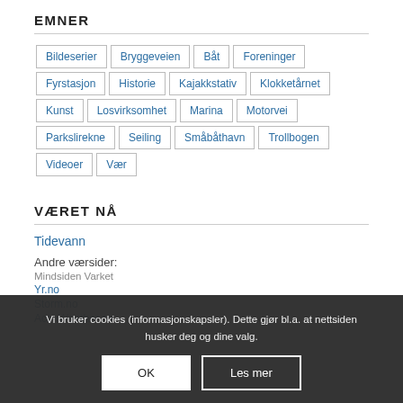EMNER
Bildeserier
Bryggeveien
Båt
Foreninger
Fyrstasjon
Historie
Kajakkstativ
Klokketårnet
Kunst
Losvirksomhet
Marina
Motorvei
Parkslirekne
Seiling
Småbåthavn
Trollbogen
Videoer
Vær
VÆRET NÅ
Tidevann
Andre værsider:
Mindsiden Varket
Yr.no
Storm.no
AccuWeather.co
Vi bruker cookies (informasjonskapsler). Dette gjør bl.a. at nettsiden husker deg og dine valg.